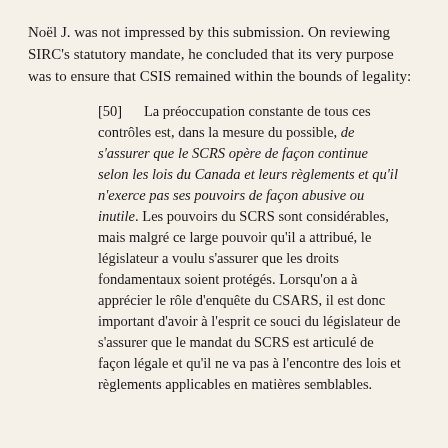Noël J. was not impressed by this submission. On reviewing SIRC's statutory mandate, he concluded that its very purpose was to ensure that CSIS remained within the bounds of legality:
[50]    La préoccupation constante de tous ces contrôles est, dans la mesure du possible, de s'assurer que le SCRS opère de façon continue selon les lois du Canada et leurs règlements et qu'il n'exerce pas ses pouvoirs de façon abusive ou inutile. Les pouvoirs du SCRS sont considérables, mais malgré ce large pouvoir qu'il a attribué, le législateur a voulu s'assurer que les droits fondamentaux soient protégés. Lorsqu'on a à apprécier le rôle d'enquête du CSARS, il est donc important d'avoir à l'esprit ce souci du législateur de s'assurer que le mandat du SCRS est articulé de façon légale et qu'il ne va pas à l'encontre des lois et règglements applicables en matières semblables.